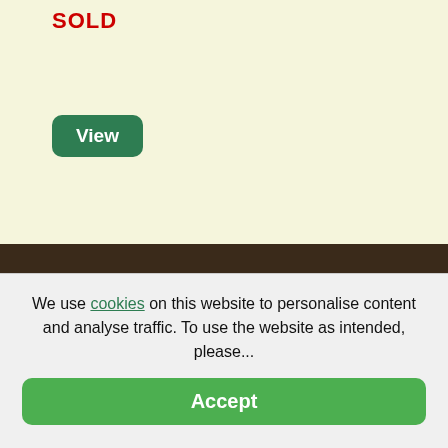SOLD
View
A SET OF LONDON UNIVERSITY OTC CAP AND COLLAR BADGES
Code: 11551
[Figure (photo): Two bronze-coloured military cap/collar badges displayed on a teal/green background]
We use cookies on this website to personalise content and analyse traffic. To use the website as intended, please...
Accept